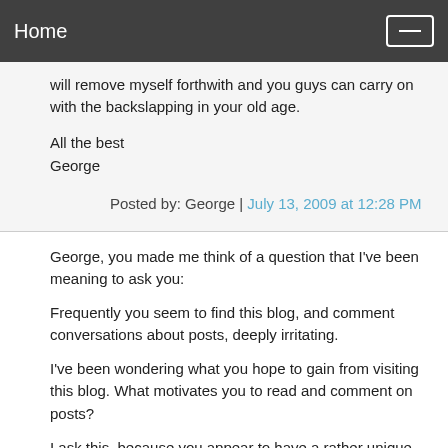Home
will remove myself forthwith and you guys can carry on with the backslapping in your old age.
All the best
George
Posted by: George | July 13, 2009 at 12:28 PM
George, you made me think of a question that I've been meaning to ask you:
Frequently you seem to find this blog, and comment conversations about posts, deeply irritating.
I've been wondering what you hope to gain from visiting this blog. What motivates you to read and comment on posts?
I ask this, because you appear to have a rather unique "churchless" perspective.